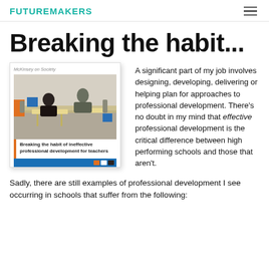FUTUREMAKERS
Breaking the habit...
[Figure (illustration): Book cover of McKinsey on Society report titled 'Breaking the habit of ineffective professional development for teachers', showing two students working together at desks in a classroom.]
A significant part of my job involves designing, developing, delivering or helping plan for approaches to professional development. There's no doubt in my mind that effective professional development is the critical difference between high performing schools and those that aren't.
Sadly, there are still examples of professional development I see occurring in schools that suffer from the following: